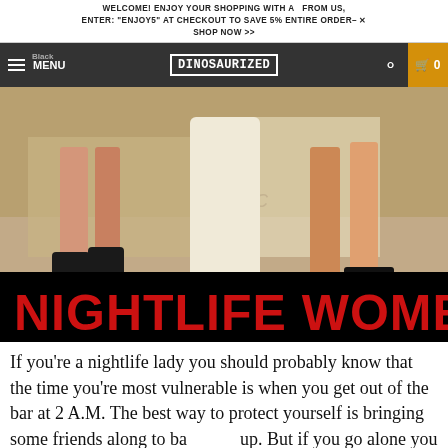WELCOME! ENJOY YOUR SHOPPING WITH A  FROM US, ENTER: "ENJOY5" AT CHECKOUT TO SAVE 5% ENTIRE ORDER- X  SHOP NOW >>
[Figure (screenshot): Website navigation bar with hamburger menu labeled MENU, DINOSAURIZED logo in a box, search icon, and shopping cart with 0 items on orange background]
[Figure (photo): Photo of women's legs wearing black high-heeled sandals with fringe detail, standing on a beige/tan floor. Black banner at bottom reads NIGHTLIFE WOMEN in large red Impact font.]
If you're a nightlife lady you should probably know that the time you're most vulnerable is when you get out of the bar at 2 A.M. The best way to protect yourself is bringing some friends along to back you up. But if you go alone you should have yourself well-prepared to prevent bad guys from taking advantage of you.